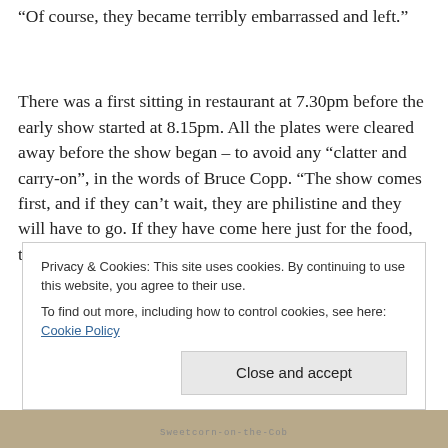“Of course, they became terribly embarrassed and left.”
There was a first sitting in restaurant at 7.30pm before the early show started at 8.15pm. All the plates were cleared away before the show began – to avoid any “clatter and carry-on”, in the words of Bruce Copp. “The show comes first, and if they can’t wait, they are philistine and they will have to go. If they have come here just for the food, they
Privacy & Cookies: This site uses cookies. By continuing to use this website, you agree to their use.
To find out more, including how to control cookies, see here: Cookie Policy
Close and accept
Sweetcorn-on-the-Cob